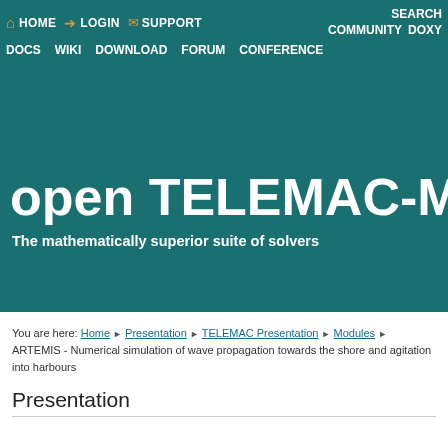HOME  LOGIN  SUPPORT  SEARCH  COMMUNITY  DOXY  DOCS  WIKI  DOWNLOAD  FORUM  CONFERENCE
[Figure (screenshot): open TELEMAC-MASCARET website hero banner with teal background, navigation bar, site title and subtitle]
open TELEMAC-MASC
The mathematically superior suite of solvers
You are here: Home ▶ Presentation ▶ TELEMAC Presentation ▶ Modules ▶ ARTEMIS - Numerical simulation of wave propagation towards the shore and agitation into harbours
Presentation